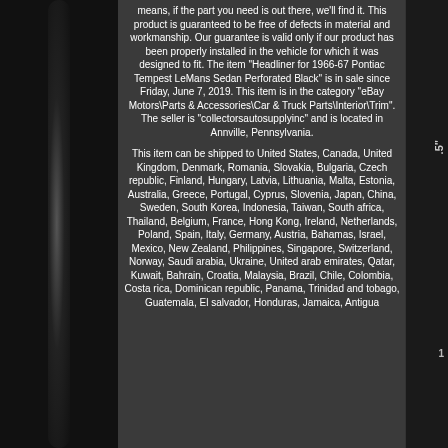means, if the part you need is out there, we'll find it. This product is guaranteed to be free of defects in material and workmanship. Our guarantee is valid only if our product has been properly installed in the vehicle for which it was designed to fit. The item "Headliner for 1966-67 Pontiac Tempest LeMans Sedan Perforated Black" is in sale since Friday, June 7, 2019. This item is in the category "eBay Motors\Parts & Accessories\Car & Truck Parts\Interior\Trim". The seller is "collectorsautosupplyinc" and is located in Annville, Pennsylvania.
This item can be shipped to United States, Canada, United Kingdom, Denmark, Romania, Slovakia, Bulgaria, Czech republic, Finland, Hungary, Latvia, Lithuania, Malta, Estonia, Australia, Greece, Portugal, Cyprus, Slovenia, Japan, China, Sweden, South Korea, Indonesia, Taiwan, South africa, Thailand, Belgium, France, Hong Kong, Ireland, Netherlands, Poland, Spain, Italy, Germany, Austria, Bahamas, Israel, Mexico, New Zealand, Philippines, Singapore, Switzerland, Norway, Saudi arabia, Ukraine, United arab emirates, Qatar, Kuwait, Bahrain, Croatia, Malaysia, Brazil, Chile, Colombia, Costa rica, Dominican republic, Panama, Trinidad and tobago, Guatemala, El salvador, Honduras, Jamaica, Antigua